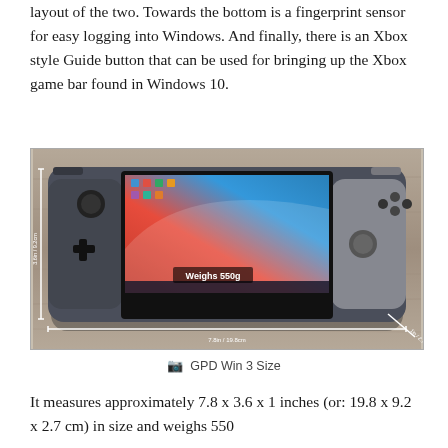layout of the two. Towards the bottom is a fingerprint sensor for easy logging into Windows. And finally, there is an Xbox style Guide button that can be used for bringing up the Xbox game bar found in Windows 10.
[Figure (photo): Photo of the GPD Win 3 handheld gaming PC showing its dimensions: 7.8in / 19.8cm wide, 3.6in / 9.2cm tall, 1in / 2.7cm thick. The screen shows a Windows 10 desktop. Overlaid text reads 'Weighs 550g'.]
GPD Win 3 Size
It measures approximately 7.8 x 3.6 x 1 inches (or: 19.8 x 9.2 x 2.7 cm) in size and weighs 550